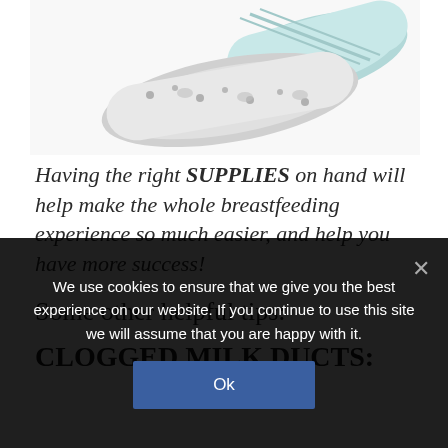[Figure (photo): Rolled baby swaddle blankets in white/grey elephant print and mint green stripe patterns, photographed from above at an angle]
Having the right SUPPLIES on hand will help make the whole breastfeeding experience so much easier, and help you have more success!
Some other helpful tips:
CLOGGED MILK DUCTS:
We use cookies to ensure that we give you the best experience on our website. If you continue to use this site we will assume that you are happy with it.